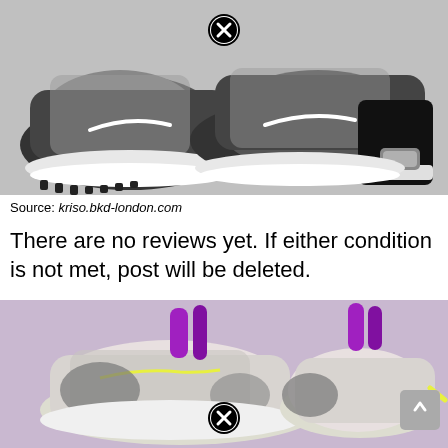[Figure (photo): Nike sneakers (black, white, grey colorway) on grey background with an X/close button badge overlay at top center]
Source: kriso.bkd-london.com
There are no reviews yet. If either condition is not met, post will be deleted.
[Figure (photo): Nike sneakers (light lavender/purple/yellow colorway) on pink-lavender background with an X/close button badge overlay at bottom center, partially cropped]